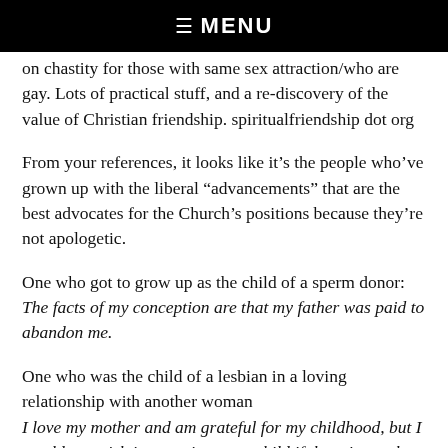☰  MENU
on chastity for those with same sex attraction/who are gay. Lots of practical stuff, and a re-discovery of the value of Christian friendship. spiritualfriendship dot org
From your references, it looks like it’s the people who’ve grown up with the liberal “advancements” that are the best advocates for the Church’s positions because they’re not apologetic.
One who got to grow up as the child of a sperm donor: The facts of my conception are that my father was paid to abandon me.
One who was the child of a lesbian in a loving relationship with another woman I love my mother and am grateful for my childhood, but I would not wish it on an innocent child if there is another way